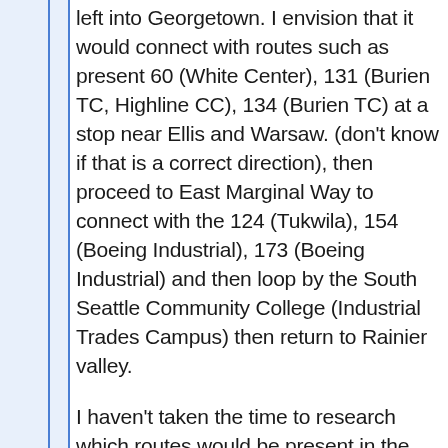left into Georgetown. I envision that it would connect with routes such as present 60 (White Center), 131 (Burien TC, Highline CC), 134 (Burien TC) at a stop near Ellis and Warsaw. (don't know if that is a correct direction), then proceed to East Marginal Way to connect with the 124 (Tukwila), 154 (Boeing Industrial), 173 (Boeing Industrial) and then loop by the South Seattle Community College (Industrial Trades Campus) then return to Rainier valley.
I haven't taken the time to research which routes would be present in the reorg but this list gives you the idea of